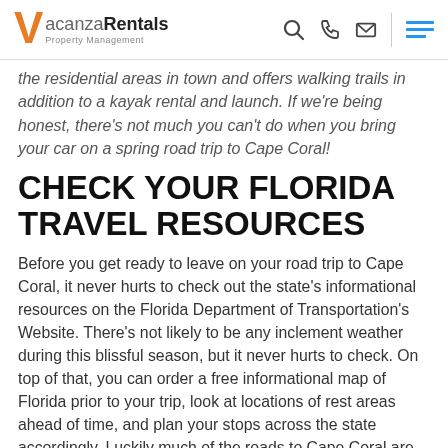VacanzaRentals Property Management
the residential areas in town and offers walking trails in addition to a kayak rental and launch. If we're being honest, there's not much you can't do when you bring your car on a spring road trip to Cape Coral!
CHECK YOUR FLORIDA TRAVEL RESOURCES
Before you get ready to leave on your road trip to Cape Coral, it never hurts to check out the state's informational resources on the Florida Department of Transportation's Website. There's not likely to be any inclement weather during this blissful season, but it never hurts to check. On top of that, you can order a free informational map of Florida prior to your trip, look at locations of rest areas ahead of time, and plan your stops across the state accordingly. Luckily much of the roads to Cape Coral are well populated, but it's never a bad idea to bring a cooler full of snacks, that can then double as the perfect cooler for boating down the canals once you arrive in Cape Coral!